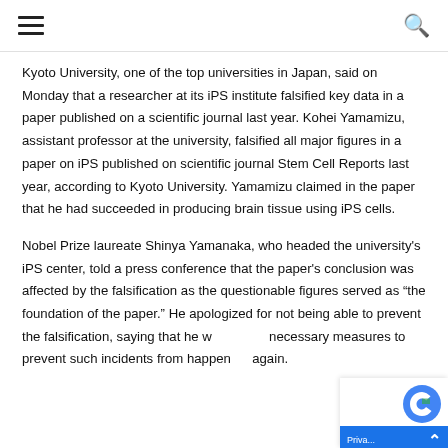[hamburger menu] [search icon]
Kyoto University, one of the top universities in Japan, said on Monday that a researcher at its iPS institute falsified key data in a paper published on a scientific journal last year. Kohei Yamamizu, assistant professor at the university, falsified all major figures in a paper on iPS published on scientific journal Stem Cell Reports last year, according to Kyoto University. Yamamizu claimed in the paper that he had succeeded in producing brain tissue using iPS cells.
Nobel Prize laureate Shinya Yamanaka, who headed the university's iPS center, told a press conference that the paper's conclusion was affected by the falsification as the questionable figures served as “the foundation of the paper.” He apologized for not being able to prevent the falsification, saying that he would take necessary measures to prevent such incidents from happening again.